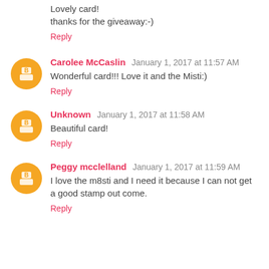Lovely card!
thanks for the giveaway:-)
Reply
Carolee McCaslin January 1, 2017 at 11:57 AM
Wonderful card!!! Love it and the Misti:)
Reply
Unknown January 1, 2017 at 11:58 AM
Beautiful card!
Reply
Peggy mcclelland January 1, 2017 at 11:59 AM
I love the m8sti and I need it because I can not get a good stamp out come.
Reply